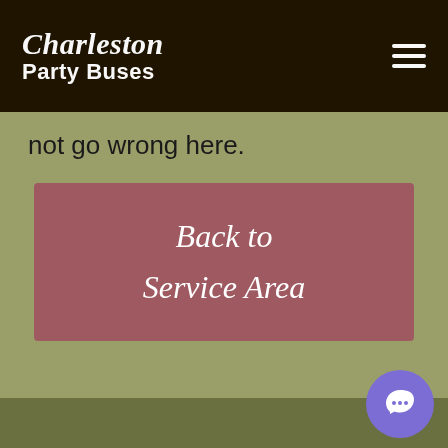Charleston Party Buses
not go wrong here.
[Figure (other): Button/CTA box with text 'Back to Service Area' on a mauve/rose background]
[Figure (other): Purple circular chat/support button in bottom-right corner]